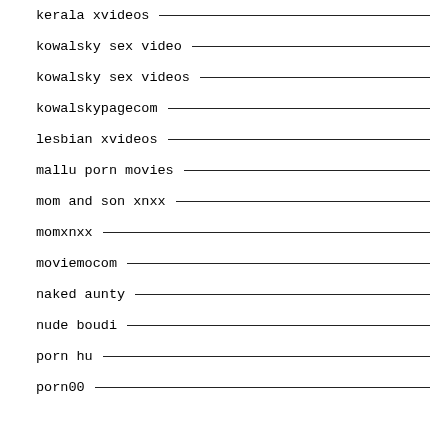kerala xvideos
kowalsky sex video
kowalsky sex videos
kowalskypagecom
lesbian xvideos
mallu porn movies
mom and son xnxx
momxnxx
moviemocom
naked aunty
nude boudi
porn hu
porn00